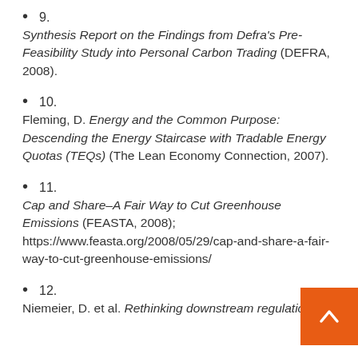9. Synthesis Report on the Findings from Defra's Pre-Feasibility Study into Personal Carbon Trading (DEFRA, 2008).
10. Fleming, D. Energy and the Common Purpose: Descending the Energy Staircase with Tradable Energy Quotas (TEQs) (The Lean Economy Connection, 2007).
11. Cap and Share–A Fair Way to Cut Greenhouse Emissions (FEASTA, 2008); https://www.feasta.org/2008/05/29/cap-and-share-a-fair-way-to-cut-greenhouse-emissions/
12. Niemeier, D. et al. Rethinking downstream regulation...